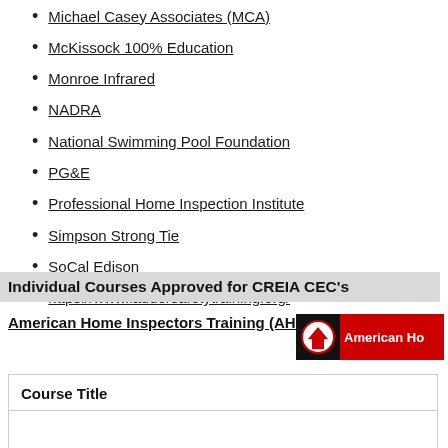Michael Casey Associates (MCA)
McKissock 100% Education
Monroe Infrared
NADRA
National Swimming Pool Foundation
PG&E
Professional Home Inspection Institute
Simpson Strong Tie
SoCal Edison
https://www.laddersafetytraining.org/
Trane
United Infrared
Individual Courses Approved for CREIA CEC's
American Home Inspectors Training (AHIT)
| Course Title |
| --- |